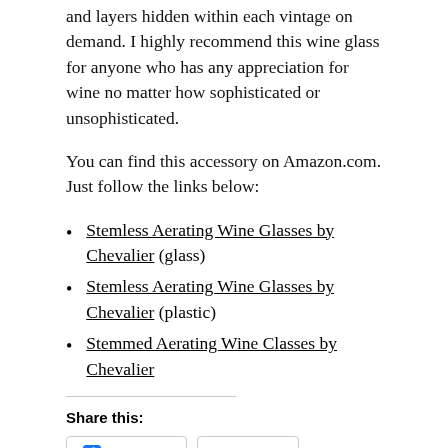and layers hidden within each vintage on demand. I highly recommend this wine glass for anyone who has any appreciation for wine no matter how sophisticated or unsophisticated.
You can find this accessory on Amazon.com. Just follow the links below:
Stemless Aerating Wine Glasses by Chevalier (glass)
Stemless Aerating Wine Glasses by Chevalier (plastic)
Stemmed Aerating Wine Classes by Chevalier
Share this:
2 bloggers like this.